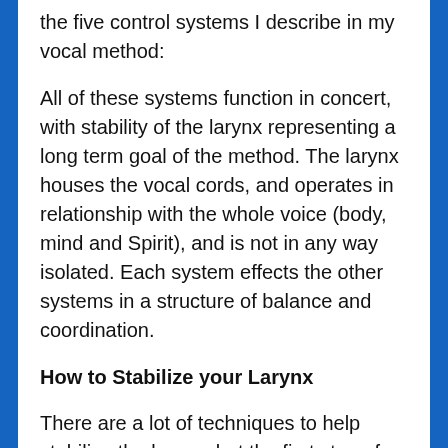the five control systems I describe in my vocal method:
All of these systems function in concert, with stability of the larynx representing a long term goal of the method. The larynx houses the vocal cords, and operates in relationship with the whole voice (body, mind and Spirit), and is not in any way isolated. Each system effects the other systems in a structure of balance and coordination.
How to Stabilize your Larynx
There are a lot of techniques to help stabilize the larynx, but the first step of this long journey begins with awareness. Keep in mind